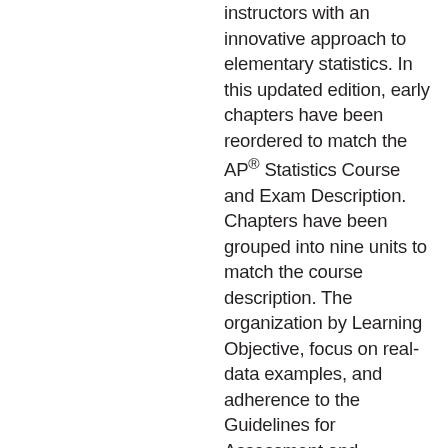instructors with an innovative approach to elementary statistics. In this updated edition, early chapters have been reordered to match the AP® Statistics Course and Exam Description. Chapters have been grouped into nine units to match the course description. The organization by Learning Objective, focus on real-data examples, and adherence to the Guidelines for Assessment and Instruction in Statistics